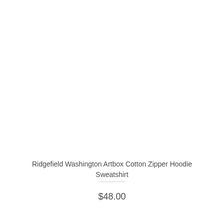Ridgefield Washington Artbox Cotton Zipper Hoodie Sweatshirt
$48.00